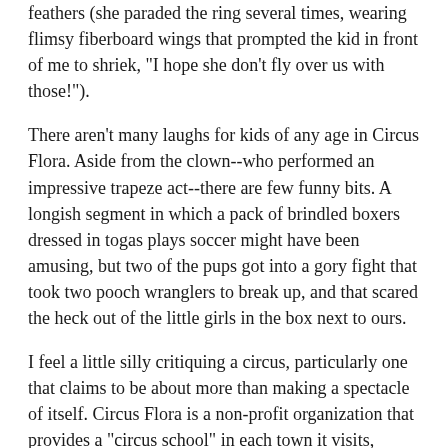feathers (she paraded the ring several times, wearing flimsy fiberboard wings that prompted the kid in front of me to shriek, "I hope she don't fly over us with those!").
There aren't many laughs for kids of any age in Circus Flora. Aside from the clown--who performed an impressive trapeze act--there are few funny bits. A longish segment in which a pack of brindled boxers dressed in togas plays soccer might have been amusing, but two of the pups got into a gory fight that took two pooch wranglers to break up, and that scared the heck out of the little girls in the box next to ours.
I feel a little silly critiquing a circus, particularly one that claims to be about more than making a spectacle of itself. Circus Flora is a non-profit organization that provides a "circus school" in each town it visits, where kids can learn tumbling and acrobatic stunts. And the Flora "family" is involved in the worldwide effort to save the African elephant; its namesake serves as a spoke...